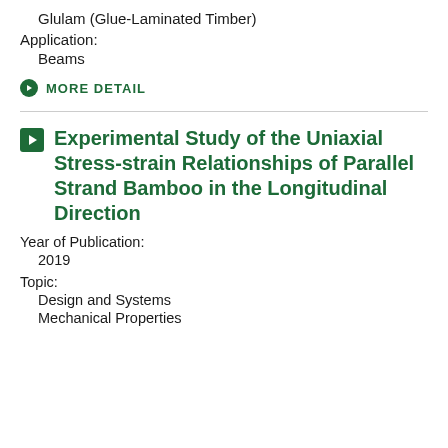Glulam (Glue-Laminated Timber)
Application:
Beams
MORE DETAIL
Experimental Study of the Uniaxial Stress-strain Relationships of Parallel Strand Bamboo in the Longitudinal Direction
Year of Publication:
2019
Topic:
Design and Systems
Mechanical Properties